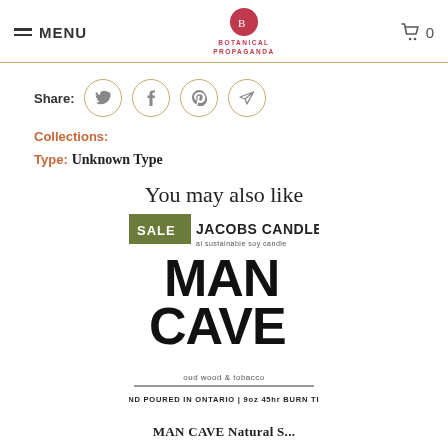MENU | BOTANICAL PROPAGANDA | 0
Share:
Collections:
Type: Unknown Type
You may also like
[Figure (photo): Product image for MAN CAVE candle by Jacobs Candle Co. Shows SALE badge, brand name, product name MAN CAVE, scent oud wood & tobacco, hand poured in Ontario 9oz 45hr burn time label.]
MAN CAVE Natural S...